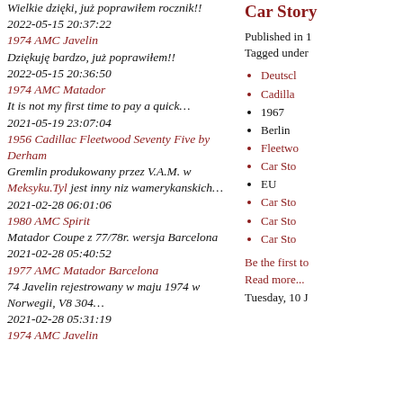Wielkie dzięki, już poprawiłem rocznik!!
2022-05-15 20:37:22
1974 AMC Javelin
Dziękuję bardzo, już poprawiłem!!
2022-05-15 20:36:50
1974 AMC Matador
It is not my first time to pay a quick…
2021-05-19 23:07:04
1956 Cadillac Fleetwood Seventy Five by Derham
Gremlin produkowany przez V.A.M. w Meksyku.Tyl jest inny niz wamerykanskich…
2021-02-28 06:01:06
1980 AMC Spirit
Matador Coupe z 77/78r. wersja Barcelona
2021-02-28 05:40:52
1977 AMC Matador Barcelona
74 Javelin rejestrowany w maju 1974 w Norwegii, V8 304…
2021-02-28 05:31:19
1974 AMC Javelin
Car Story
Published in 1
Tagged under
Deutscl
Cadilla
1967
Berlin
Fleetwo
Car Sto
EU
Car Sto
Car Sto
Car Sto
Be the first to
Read more...
Tuesday, 10 J